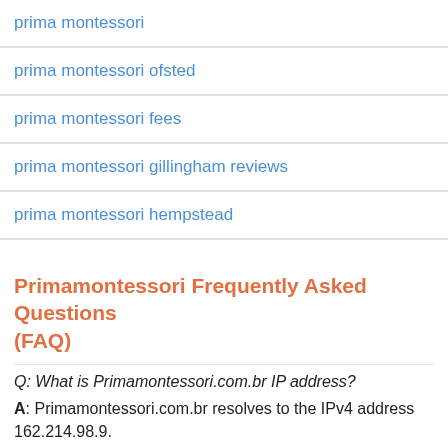prima montessori
prima montessori ofsted
prima montessori fees
prima montessori gillingham reviews
prima montessori hempstead
Primamontessori Frequently Asked Questions (FAQ)
Q: What is Primamontessori.com.br IP address?
A: Primamontessori.com.br resolves to the IPv4 address 162.214.98.9.
Q: When did Primamontessori.com.br come out?